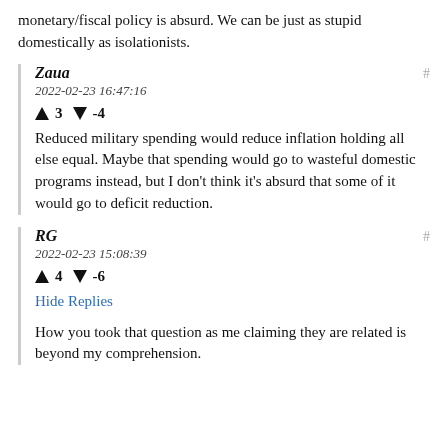monetary/fiscal policy is absurd. We can be just as stupid domestically as isolationists.
Zaua
2022-02-23 16:47:16
▲ 3 ▼ -4
Reduced military spending would reduce inflation holding all else equal. Maybe that spending would go to wasteful domestic programs instead, but I don't think it's absurd that some of it would go to deficit reduction.
RG
2022-02-23 15:08:39
▲ 4 ▼ -6
Hide Replies
How you took that question as me claiming they are related is beyond my comprehension.